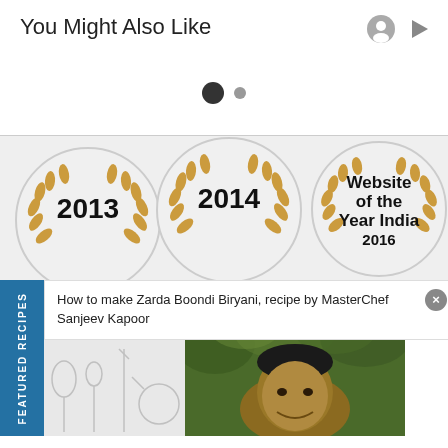You Might Also Like
[Figure (other): Carousel dots indicator: one large dark dot and one smaller gray dot]
[Figure (other): 2013 Website of the Year award badge - circular badge with golden laurel wreath]
[Figure (other): 2014 Website of the Year award badge - circular badge with golden laurel wreath]
[Figure (other): Website of the Year India 2016 award badge - circular badge with golden laurel wreath]
How to make Zarda Boondi Biryani, recipe by MasterChef Sanjeev Kapoor
FEATURED RECIPES
[Figure (photo): Photo of MasterChef Sanjeev Kapoor smiling, with green foliage background]